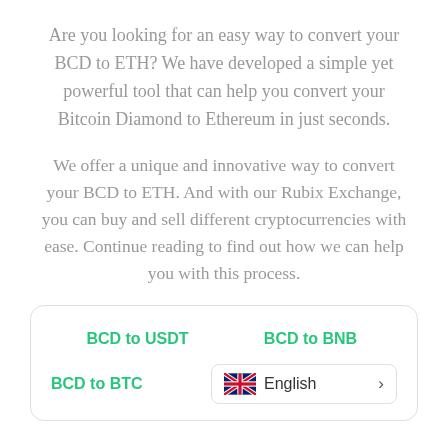Are you looking for an easy way to convert your BCD to ETH? We have developed a simple yet powerful tool that can help you convert your Bitcoin Diamond to Ethereum in just seconds.
We offer a unique and innovative way to convert your BCD to ETH. And with our Rubix Exchange, you can buy and sell different cryptocurrencies with ease. Continue reading to find out how we can help you with this process.
| BCD to USDT | BCD to BNB |
| BCD to BTC | English > |